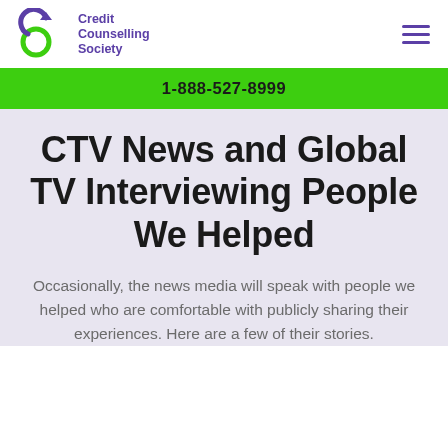Credit Counselling Society
1-888-527-8999
CTV News and Global TV Interviewing People We Helped
Occasionally, the news media will speak with people we helped who are comfortable with publicly sharing their experiences. Here are a few of their stories.